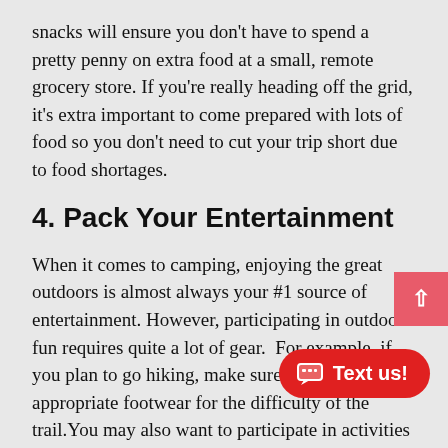snacks will ensure you don't have to spend a pretty penny on extra food at a small, remote grocery store. If you're really heading off the grid, it's extra important to come prepared with lots of food so you don't need to cut your trip short due to food shortages.
4. Pack Your Entertainment
When it comes to camping, enjoying the great outdoors is almost always your #1 source of entertainment. However, participating in outdoor fun requires quite a lot of gear.  For example, if you plan to go hiking, make sure to pack the appropriate footwear for the difficulty of the trail.You may also want to participate in activities such as f... biking, or kayaking. These activities all r... specific gear that you may need to purchase and